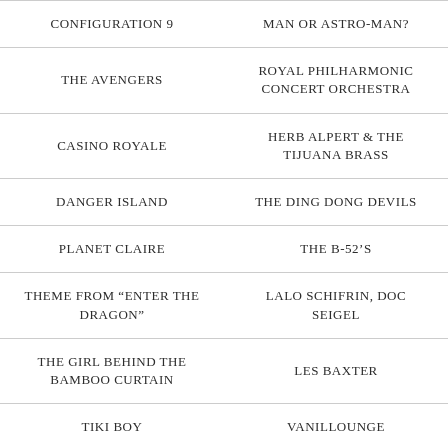| Song/Title | Artist |
| --- | --- |
| CONFIGURATION 9 | MAN OR ASTRO-MAN? |
| THE AVENGERS | ROYAL PHILHARMONIC CONCERT ORCHESTRA |
| CASINO ROYALE | HERB ALPERT & THE TIJUANA BRASS |
| DANGER ISLAND | THE DING DONG DEVILS |
| PLANET CLAIRE | THE B-52'S |
| THEME FROM “ENTER THE DRAGON” | LALO SCHIFRIN, DOC SEIGEL |
| THE GIRL BEHIND THE BAMBOO CURTAIN | LES BAXTER |
| TIKI BOY | VANILLOUNGE |